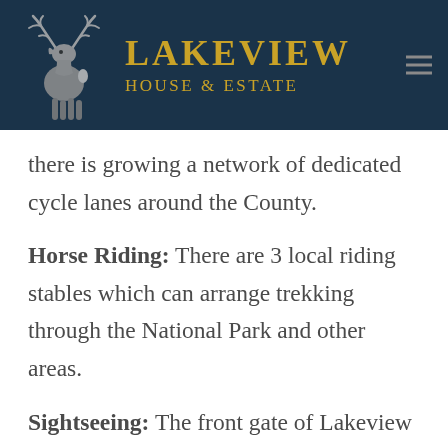Lakeview House & Estate
there is growing a network of dedicated cycle lanes around the County.
Horse Riding: There are 3 local riding stables which can arrange trekking through the National Park and other areas.
Sightseeing: The front gate of Lakeview House & Estate is situated on